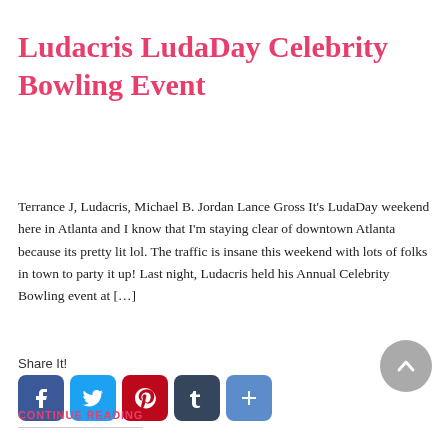Ludacris LudaDay Celebrity Bowling Event
Terrance J, Ludacris, Michael B. Jordan Lance Gross It's LudaDay weekend here in Atlanta and I know that I'm staying clear of downtown Atlanta because its pretty lit lol. The traffic is insane this weekend with lots of folks in town to party it up! Last night, Ludacris held his Annual Celebrity Bowling event at […]
Share It!
[Figure (other): Social media share icons: Facebook, Twitter, Pinterest, Tumblr, Share (plus)]
CONTINUE READING